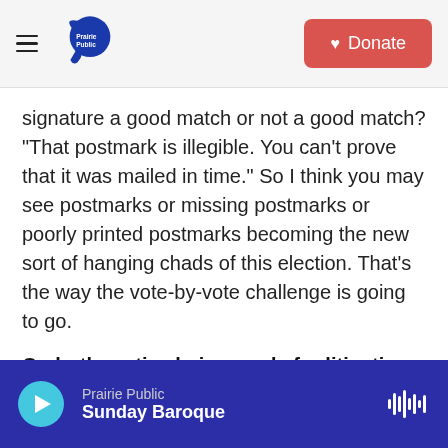Prairie Public | Donate
signature a good match or not a good match? "That postmark is illegible. You can't prove that it was mailed in time." So I think you may see postmarks or missing postmarks or poorly printed postmarks becoming the new sort of hanging chads of this election. That's the way the vote-by-vote challenge is going to go.
On both parties being ready for litigation
The two sides have each hired hundreds of lawyers and recruited thousands of lawyers as volunteers for what they believe is going to be a multistate
Prairie Public | Sunday Baroque